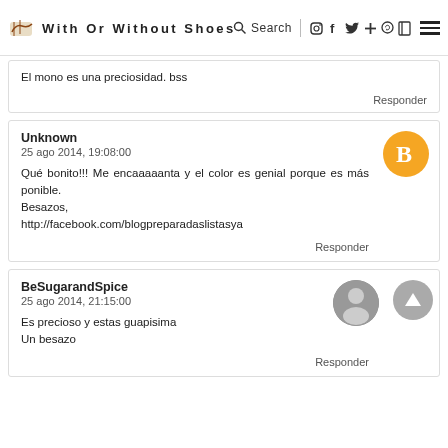With Or Without Shoes — Search, social icons, menu
El mono es una preciosidad. bss
Responder
Unknown
25 ago 2014, 19:08:00
Qué bonito!!! Me encaaaaanta y el color es genial porque es más ponible.
Besazos,
http://facebook.com/blogpreparadaslistasya
Responder
BeSugarandSpice
25 ago 2014, 21:15:00
Es precioso y estas guapisima
Un besazo
Responder